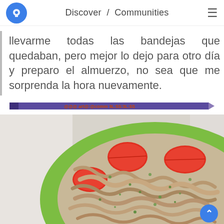Discover / Communities
llevarme todas las bandejas que quedaban, pero mejor lo dejo para otro día y preparo el almuerzo, no sea que me sorprenda la hora nuevamente.
[Figure (photo): A purple/blue pencil or ruler with orange text showing what appears to be a timestamp or code: @@@ art@:@comm 3L:5S:3L:5S]
[Figure (photo): A green plate with a meal consisting of shredded meat or tuna mixed with herbs/seasoning, topped with halved red tomatoes.]